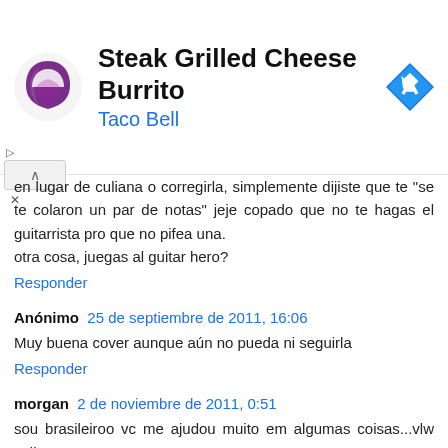[Figure (screenshot): Taco Bell advertisement banner with Taco Bell logo on left, text 'Steak Grilled Cheese Burrito' and 'Taco Bell' in center, blue navigation arrow icon on right. Ad controls including collapse button and X shown below.]
en lugar de culiana o corregirla, simplemente dijiste que te "se te colaron un par de notas" jeje copado que no te hagas el guitarrista pro que no pifea una.
otra cosa, juegas al guitar hero?
Responder
Anónimo  25 de septiembre de 2011, 16:06
Muy buena cover aunque aún no pueda ni seguirla
Responder
morgan  2 de noviembre de 2011, 0:51
sou brasileiroo vc me ajudou muito em algumas coisas...vlw velhoo
queria muito ver se poderia fazer alguma aula da banda